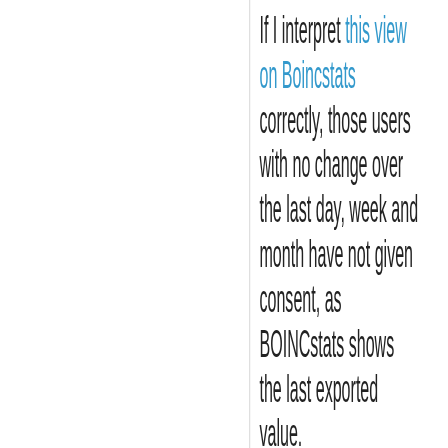If I interpret this view on Boincstats correctly, those users with no change over the last day, week and month have not given consent, as BOINCstats shows the last exported value.